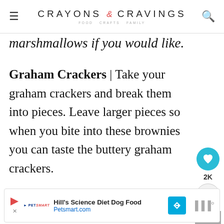CRAYONS & CRAVINGS — FOOD CRAFTS FAMILY
marshmallows if you would like.
Graham Crackers | Take your graham crackers and break them into pieces. Leave larger pieces so when you bite into these brownies you can taste the buttery graham crackers.
[Figure (infographic): Sidebar social share buttons: heart icon (teal circle) with 2K count, and share icon (light circle). What's Next panel with thumbnail and 'Valentine's Day Raspbe...' text.]
[Figure (infographic): Advertisement bar: PetSmart logo, Hill's Science Diet Dog Food text, Petsmart.com URL, directional road sign icon.]